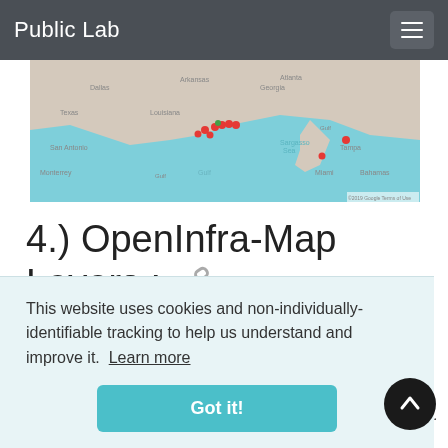Public Lab
[Figure (map): A map showing the Gulf of Mexico region including parts of the southern United States, with colored pin markers along the Gulf Coast.]
4.) OpenInfra-Map Layers : 🔗
Open Infrastructure Map is a view of the world's hidden ... se.
This website uses cookies and non-individually-identifiable tracking to help us understand and improve it. Learn more
Got it!